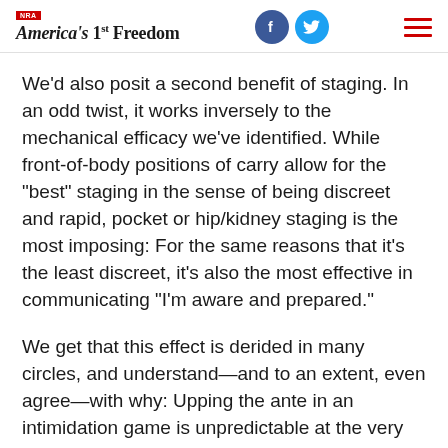NRA America's 1st Freedom
We’d also posit a second benefit of staging. In an odd twist, it works inversely to the mechanical efficacy we’ve identified. While front-of-body positions of carry allow for the “best” staging in the sense of being discreet and rapid, pocket or hip/kidney staging is the most imposing: For the same reasons that it’s the least discreet, it’s also the most effective in communicating “I’m aware and prepared.”
We get that this effect is derided in many circles, and understand—and to an extent, even agree—with why: Upping the ante in an intimidation game is unpredictable at the very best. But to insist that bullies or out-and-out crooks can’t or don’t make